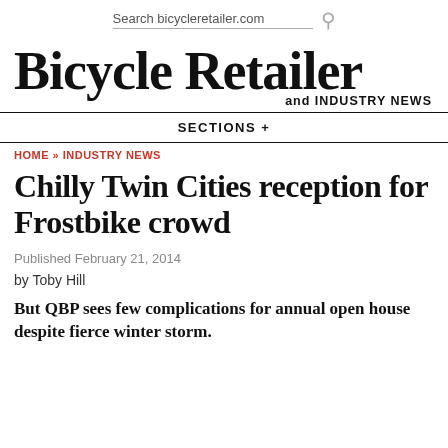Search bicycleretailer.com
Bicycle Retailer and INDUSTRY NEWS
SECTIONS +
HOME » INDUSTRY NEWS
Chilly Twin Cities reception for Frostbike crowd
Published February 21, 2014
by Toby Hill
But QBP sees few complications for annual open house despite fierce winter storm.